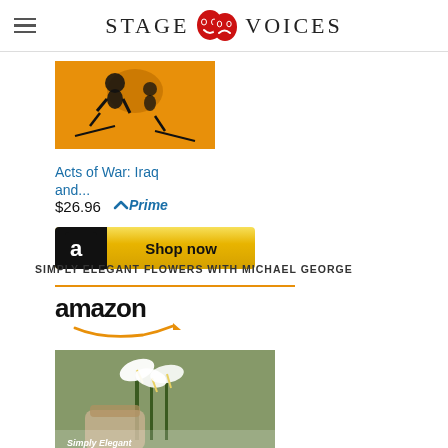STAGE VOICES
[Figure (screenshot): Book cover for Acts of War: Iraq and... shown on orange background with black silhouette imagery]
Acts of War: Iraq and...
$26.96  Prime
[Figure (other): Amazon Shop now button with black Amazon logo icon and gold background]
SIMPLY ELEGANT FLOWERS WITH MICHAEL GEORGE
[Figure (other): Amazon logo with orange smile arrow and book cover for Simply Elegant Flowers with Michael George showing white calla lilies]